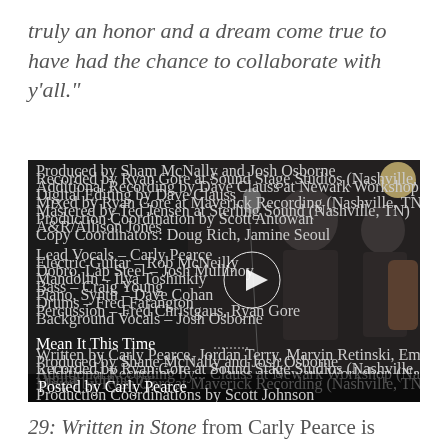truly an honor and a dream come true to have had the chance to collaborate with y'all."
[Figure (screenshot): Video thumbnail/screenshot showing a music recording session with two musicians in a dark studio, overlaid with song credits text. The song title 'Mean It This Time' appears in large italic text. A play button circle is visible in the center-right. A bar at the bottom reads 'Posted by Carly Pearce'.]
29: Written in Stone from Carly Pearce is